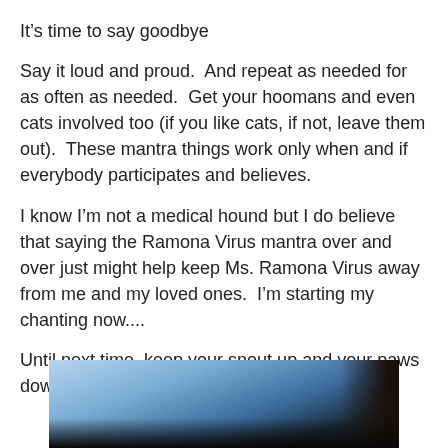It's time to say goodbye
Say it loud and proud.  And repeat as needed for as often as needed.  Get your hoomans and even cats involved too (if you like cats, if not, leave them out).  These mantra things work only when and if everybody participates and believes.
I know I'm not a medical hound but I do believe that saying the Ramona Virus mantra over and over just might help keep Ms. Ramona Virus away from me and my loved ones.  I'm starting my chanting now....
Until next time, keep your snout up and your paws down
[Figure (photo): A photograph showing a partially visible scene with blue and dark tones, possibly a dog or animal in a room setting.]